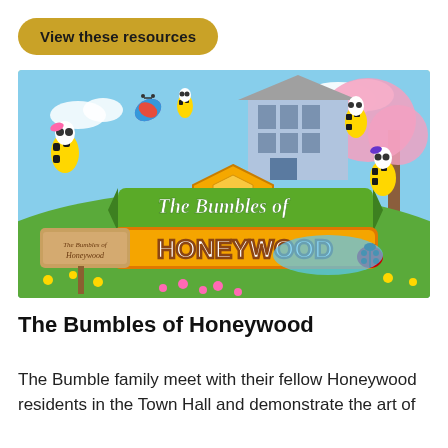View these resources
[Figure (illustration): Colorful cartoon illustration titled 'The Bumbles of Honeywood' showing animated bees, a honeycomb, a building, butterflies, flowers, and a ladybug in a sunny meadow scene.]
The Bumbles of Honeywood
The Bumble family meet with their fellow Honeywood residents in the Town Hall and demonstrate the art of